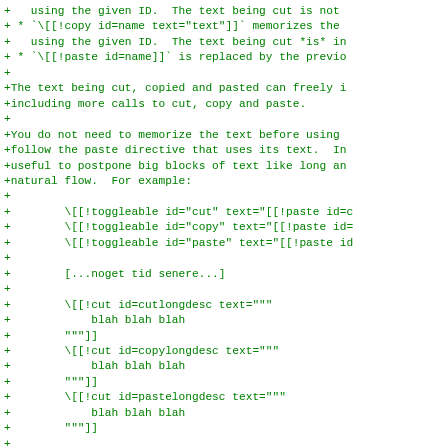+   using the given ID.  The text being cut is not
+ * `\[[!copy id=name text="text"]]` memorizes the
+   using the given ID.  The text being cut *is* in
+ * `\[[!paste id=name]]` is replaced by the previo
+
+The text being cut, copied and pasted can freely i
+including more calls to cut, copy and paste.
+
+You do not need to memorize the text before using
+follow the paste directive that uses its text.  In
+useful to postpone big blocks of text like long an
+natural flow.  For example:
+
+        \[[!toggleable id="cut" text="[[!paste id=c
+        \[[!toggleable id="copy" text="[[!paste id=
+        \[[!toggleable id="paste" text="[[!paste id
+
+        [...noget tid senere...]
+
+        \[[!cut id=cutlongdesc text="""
+            blah blah blah
+        """]]
+        \[[!cut id=copylongdesc text="""
+            blah blah blah
+        """]]
+        \[[!cut id=pastelongdesc text="""
+            blah blah blah
+        """]]
+
+This can potentially be used to create loops, but
+breaks them.